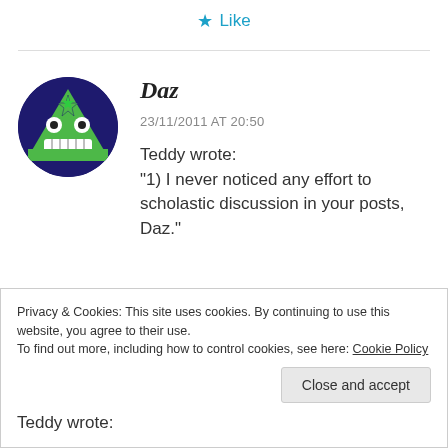★ Like
Daz
23/11/2011 AT 20:50
Teddy wrote:
"1) I never noticed any effort to scholastic discussion in your posts, Daz."
Privacy & Cookies: This site uses cookies. By continuing to use this website, you agree to their use.
To find out more, including how to control cookies, see here: Cookie Policy
Close and accept
Teddy wrote: